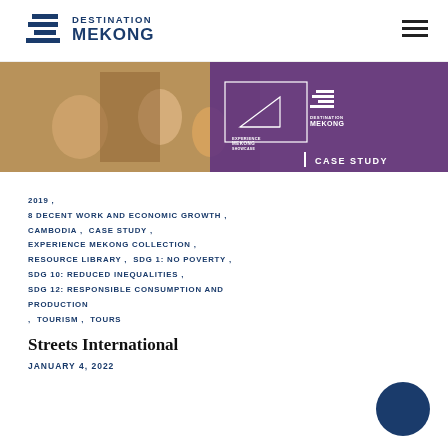DESTINATION MEKONG
[Figure (photo): Hero banner image showing people dining at a restaurant on the left side, overlaid with a purple panel on the right side showing Experience Mekong Showcase and Destination Mekong logos, with text CASE STUDY]
2019, 8 DECENT WORK AND ECONOMIC GROWTH, CAMBODIA, CASE STUDY, EXPERIENCE MEKONG COLLECTION, RESOURCE LIBRARY, SDG 1: NO POVERTY, SDG 10: REDUCED INEQUALITIES, SDG 12: RESPONSIBLE CONSUMPTION AND PRODUCTION, TOURISM, TOURS
Streets International
JANUARY 4, 2022